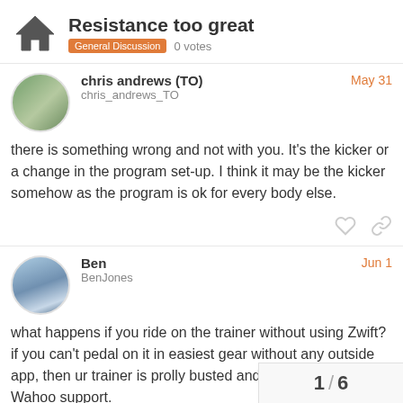Resistance too great — General Discussion 0 votes
chris andrews (TO)
chris_andrews_TO
May 31
there is something wrong and not with you. It's the kicker or a change in the program set-up. I think it may be the kicker somehow as the program is ok for every body else.
Ben
BenJones
Jun 1
what happens if you ride on the trainer without using Zwift? if you can't pedal on it in easiest gear without any outside app, then ur trainer is prolly busted and you should contact Wahoo support.
1 / 6